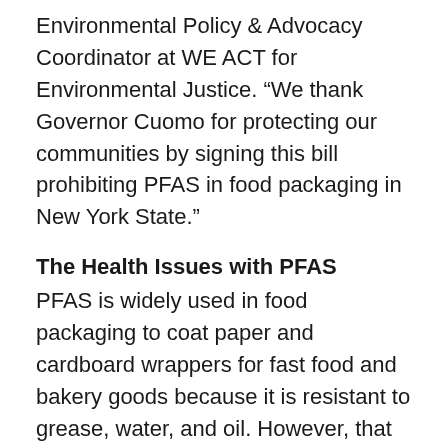Environmental Policy & Advocacy Coordinator at WE ACT for Environmental Justice. “We thank Governor Cuomo for protecting our communities by signing this bill prohibiting PFAS in food packaging in New York State.”
The Health Issues with PFAS
PFAS is widely used in food packaging to coat paper and cardboard wrappers for fast food and bakery goods because it is resistant to grease, water, and oil. However, that resistance comes at a huge cost. These man-made chemicals are extremely difficult to break down and can accumulate in our bodies for so long that they are commonly referred to as “forever chemicals.” Exposure to PFAS has been linked to a variety of health concerns, including cancer,